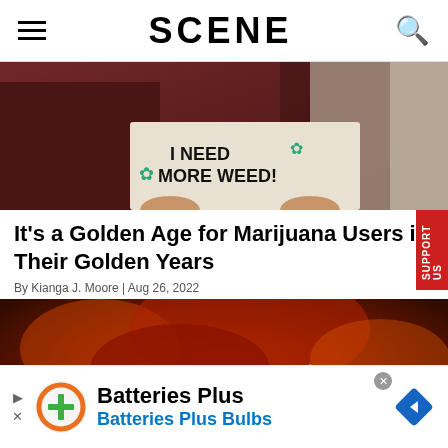SCENE
[Figure (photo): Person holding a sign that reads 'I NEED MORE WEED!' with marijuana leaf illustrations on it]
It's a Golden Age for Marijuana Users in Their Golden Years
By Kianga J. Moore | Aug 26, 2022
[Figure (photo): Dark painting depicting a barn and a white tiger with fiery red and orange background]
Batteries Plus
Batteries Plus Bulbs